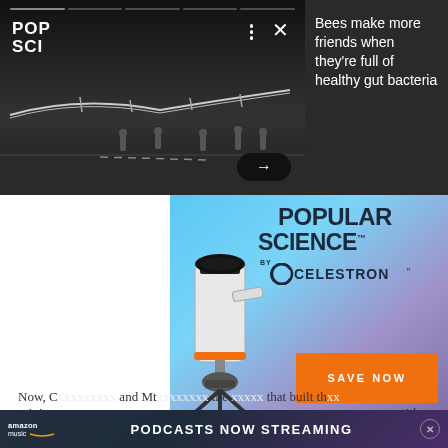[Figure (screenshot): PopSci app notification banner showing a dark nighttime image of a large solar-powered drone/aircraft with people on a runway, with progress bar segments at top, POP SCI logo, three-dot menu and X close icons, and a right-side dark panel with white text reading 'Bees make more friends when they're full of healthy gut bacteria', and a black rounded arrow button]
[Figure (advertisement): Popular Science by Celestron advertisement with light blue and purple gradient background, showing a telescope in the lower left, large bold text 'POPULAR SCIENCE' with 'BY CELESTRON' logo, and an orange 'SAVE NOW' button]
Now, G... and Mt... the ... that built th... origina... ... ... ... ... ... ... ... ... ... ... ... ... ith a
[Figure (advertisement): Amazon Music banner ad with dark blue/purple gradient background, Amazon Music logo with smile, and text 'PODCASTS NOW STREAMING' in white bold letters, with a close X button on the right]